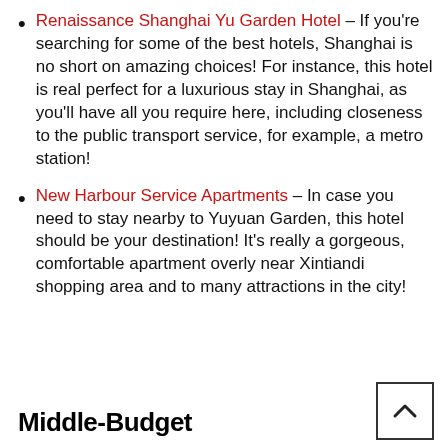Renaissance Shanghai Yu Garden Hotel – If you're searching for some of the best hotels, Shanghai is no short on amazing choices! For instance, this hotel is real perfect for a luxurious stay in Shanghai, as you'll have all you require here, including closeness to the public transport service, for example, a metro station!
New Harbour Service Apartments – In case you need to stay nearby to Yuyuan Garden, this hotel should be your destination! It's really a gorgeous, comfortable apartment overly near Xintiandi shopping area and to many attractions in the city!
Middle-Budget